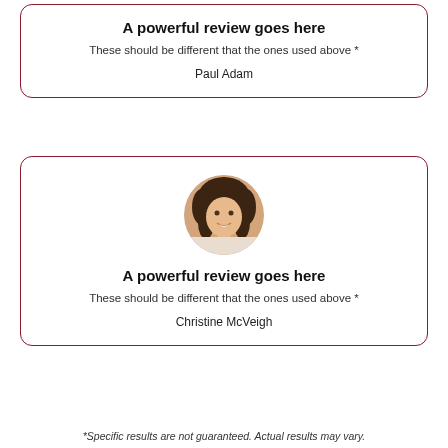A powerful review goes here
These should be different that the ones used above *
Paul Adam
[Figure (photo): Circular portrait photo of a smiling woman with curly brown hair and a teal necklace]
A powerful review goes here
These should be different that the ones used above *
Christine McVeigh
*Specific results are not guaranteed. Actual results may vary.